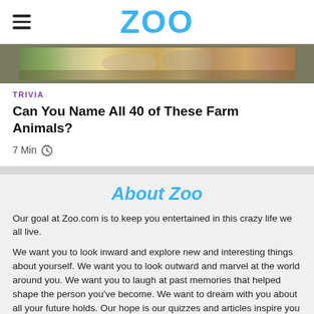ZOO
[Figure (photo): Partial view of farm animals, cropped image showing animal heads/bodies outdoors]
TRIVIA
Can You Name All 40 of These Farm Animals?
7 Min
About Zoo
Our goal at Zoo.com is to keep you entertained in this crazy life we all live.
We want you to look inward and explore new and interesting things about yourself. We want you to look outward and marvel at the world around you. We want you to laugh at past memories that helped shape the person you've become. We want to dream with you about all your future holds. Our hope is our quizzes and articles inspire you to do just that.
Life is a zoo! Embrace it on Zoo.com.